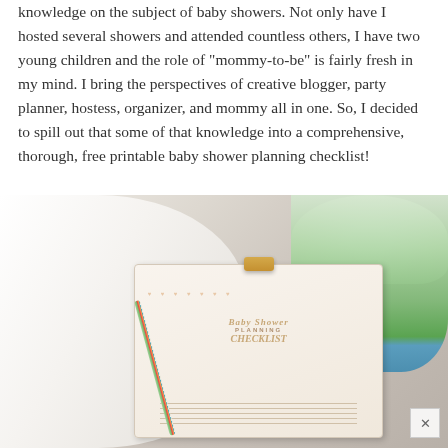knowledge on the subject of baby showers. Not only have I hosted several showers and attended countless others, I have two young children and the role of "mommy-to-be" is fairly fresh in my mind. I bring the perspectives of creative blogger, party planner, hostess, organizer, and mommy all in one. So, I decided to spill out that some of that knowledge into a comprehensive, thorough, free printable baby shower planning checklist!
[Figure (photo): Flat lay photo showing a white baby onesie, a gold clipboard holding a Baby Shower Planning Checklist printable with heart decorations, a teal vase with white flowers, and a colorful striped pen, all on a white surface.]